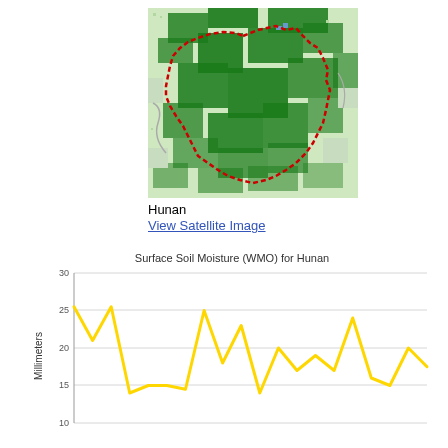[Figure (map): Satellite/vegetation map of Hunan province with red dashed boundary outline showing the region, with green vegetation areas on white/light background]
Hunan
View Satellite Image
[Figure (line-chart): Surface Soil Moisture (WMO) for Hunan]